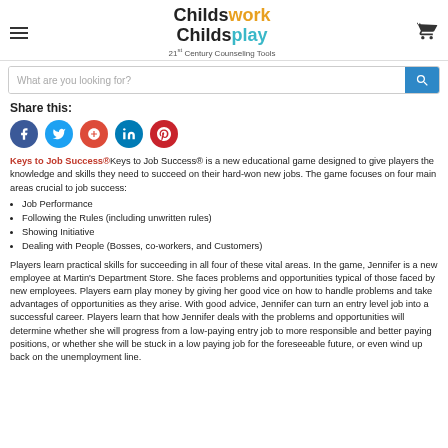Childswork Childsplay — 21st Century Counseling Tools
[Figure (logo): Childswork Childsplay logo with tagline '21st Century Counseling Tools']
What are you looking for?
Share this:
[Figure (infographic): Social media share buttons: Facebook, Twitter, Google+, LinkedIn, Pinterest]
Keys to Job Success®Keys to Job Success® is a new educational game designed to give players the knowledge and skills they need to succeed on their hard-won new jobs. The game focuses on four main areas crucial to job success:
Job Performance
Following the Rules (including unwritten rules)
Showing Initiative
Dealing with People (Bosses, co-workers, and Customers)
Players learn practical skills for succeeding in all four of these vital areas. In the game, Jennifer is a new employee at Martin's Department Store. She faces problems and opportunities typical of those faced by new employees. Players earn play money by giving her good vice on how to handle problems and take advantages of opportunities as they arise. With good advice, Jennifer can turn an entry level job into a successful career. Players learn that how Jennifer deals with the problems and opportunities will determine whether she will progress from a low-paying entry job to more responsible and better paying positions, or whether she will be stuck in a low paying job for the foreseeable future, or even wind up back on the unemployment line.